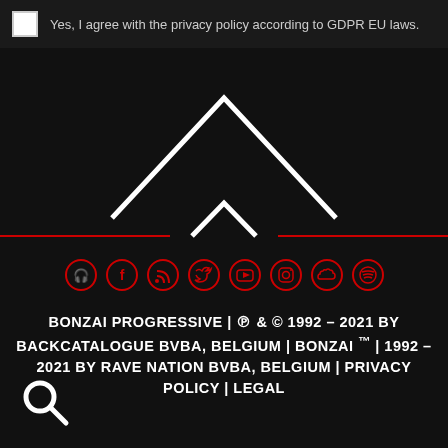Yes, I agree with the privacy policy according to GDPR EU laws.
[Figure (illustration): Two white chevron/arrow shapes pointing up, overlapping, on a dark background with a red horizontal divider line]
[Figure (infographic): Row of 8 social media icons in red circle outlines: headphones/beatport, facebook, rss, twitter, youtube, instagram, soundcloud, spotify]
BONZAI PROGRESSIVE | ℗ & © 1992 – 2021 BY BACKCATALOGUE BVBA, BELGIUM | BONZAI ™ | 1992 – 2021 BY RAVE NATION BVBA, BELGIUM | PRIVACY POLICY | LEGAL
[Figure (illustration): White magnifying glass search icon in the bottom left corner]